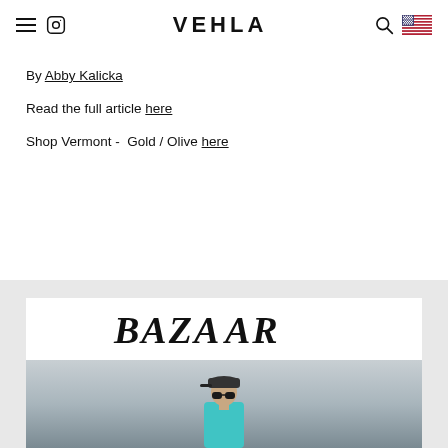VEHLA
By Abby Kalicka
Read the full article here
Shop Vermont -  Gold / Olive here
[Figure (screenshot): Harper's Bazaar logo card with photo of person wearing sunglasses, black cap, and turquoise outfit]